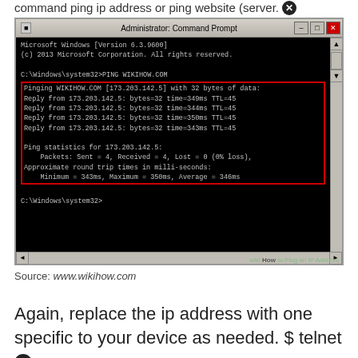command ping ip address or ping website (server. [error icon]
[Figure (screenshot): Windows Administrator Command Prompt window showing PING WIKIHOW.COM command output with replies from 173.203.142.5, ping statistics, highlighted in red box. WikiHow watermark at bottom right.]
Source: www.wikihow.com
Again, replace the ip address with one specific to your device as needed. $ telnet [error icon]